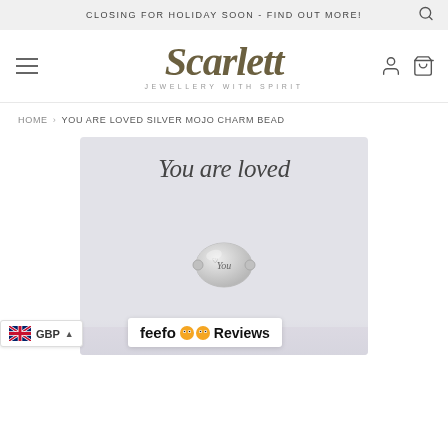CLOSING FOR HOLIDAY SOON - FIND OUT MORE!
[Figure (logo): Scarlett Jewellery With Spirit logo — decorative serif brand name in olive/taupe color with tagline underneath]
HOME › YOU ARE LOVED SILVER MOJO CHARM BEAD
[Figure (photo): Product photo of You Are Loved Silver Mojo Charm Bead on light purple-grey card background with 'You are loved' handwritten text above the silver bead charm. Feefo Reviews badge and GBP currency selector visible at bottom.]